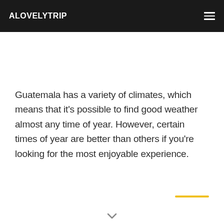ALOVELYTRIP
Guatemala has a variety of climates, which means that it's possible to find good weather almost any time of year. However, certain times of year are better than others if you're looking for the most enjoyable experience.